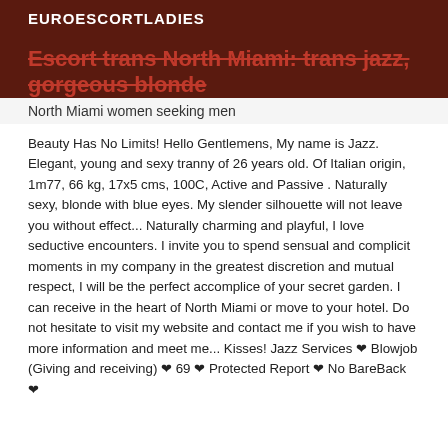EUROESCORTLADIES
Escort trans North Miami: trans jazz, gorgeous blonde
North Miami women seeking men
Beauty Has No Limits! Hello Gentlemens, My name is Jazz. Elegant, young and sexy tranny of 26 years old. Of Italian origin, 1m77, 66 kg, 17x5 cms, 100C, Active and Passive . Naturally sexy, blonde with blue eyes. My slender silhouette will not leave you without effect... Naturally charming and playful, I love seductive encounters. I invite you to spend sensual and complicit moments in my company in the greatest discretion and mutual respect, I will be the perfect accomplice of your secret garden. I can receive in the heart of North Miami or move to your hotel. Do not hesitate to visit my website and contact me if you wish to have more information and meet me... Kisses! Jazz Services ❤ Blowjob (Giving and receiving) ❤ 69 ❤ Protected Report ❤ No BareBack ❤